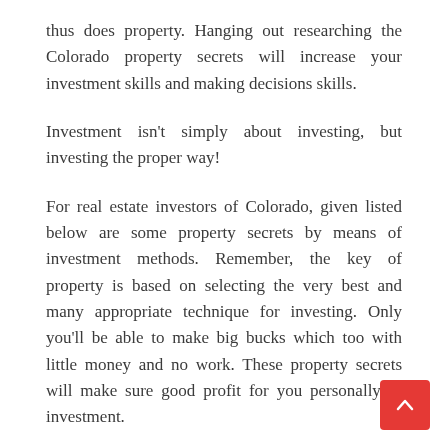thus does property. Hanging out researching the Colorado property secrets will increase your investment skills and making decisions skills.
Investment isn't simply about investing, but investing the proper way!
For real estate investors of Colorado, given listed below are some property secrets by means of investment methods. Remember, the key of property is based on selecting the very best and many appropriate technique for investing. Only you'll be able to make big bucks which too with little money and no work. These property secrets will make sure good profit for you personally in investment.
Retailing
Retailing is definitely an investment way in which provides